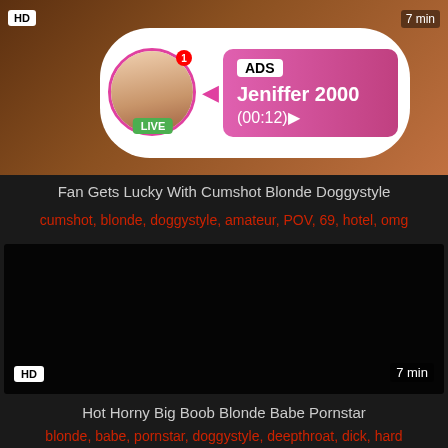[Figure (screenshot): Video thumbnail with warm brown background, HD badge top-left, duration top-right, and an ad popup overlay showing a live profile with avatar, LIVE badge, ADS label, username Jeniffer 2000, and timer (00:12)]
Fan Gets Lucky With Cumshot Blonde Doggystyle
cumshot, blonde, doggystyle, amateur, POV, 69, hotel, omg
[Figure (screenshot): Dark/black video thumbnail with HD badge bottom-left and 7 min duration bottom-right]
Hot Horny Big Boob Blonde Babe Pornstar
blonde, babe, pornstar, doggystyle, deepthroat, dick, hard